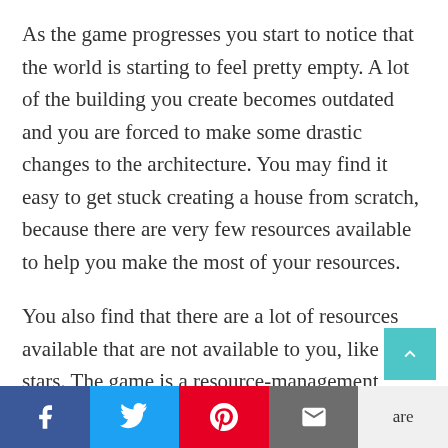As the game progresses you start to notice that the world is starting to feel pretty empty. A lot of the building you create becomes outdated and you are forced to make some drastic changes to the architecture. You may find it easy to get stuck creating a house from scratch, because there are very few resources available to help you make the most of your resources.
You also find that there are a lot of resources available that are not available to you, like the stars. The game is a resource-management game, and it's very easy to get stuck because you don't know what to do with what you already
Facebook | Twitter | Pinterest | Email | are